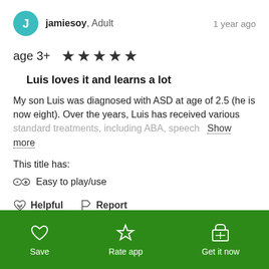jamiesoy, Adult — 1 year ago
age 3+ ★★★★★
Luis loves it and learns a lot
My son Luis was diagnosed with ASD at age of 2.5 (he is now eight). Over the years, Luis has received various standard treatments, including ABA, speech  Show more
This title has:
Easy to play/use
Helpful   Report
Save   Rate app   Get it now